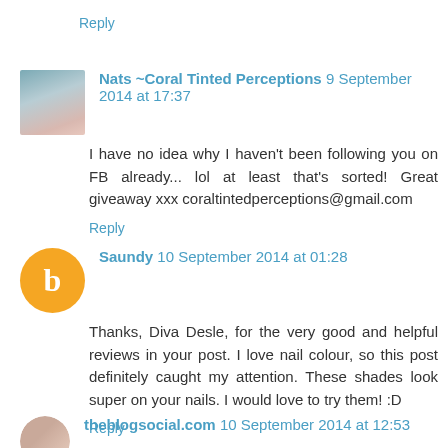Reply
Nats ~Coral Tinted Perceptions 9 September 2014 at 17:37
I have no idea why I haven't been following you on FB already... lol at least that's sorted! Great giveaway xxx coraltintedperceptions@gmail.com
Reply
Saundy 10 September 2014 at 01:28
Thanks, Diva Desle, for the very good and helpful reviews in your post. I love nail colour, so this post definitely caught my attention. These shades look super on your nails. I would love to try them! :D
Reply
theblogsocial.com 10 September 2014 at 12:53